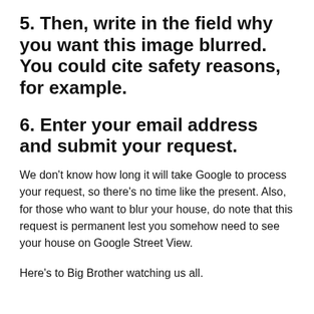5. Then, write in the field why you want this image blurred. You could cite safety reasons, for example.
6. Enter your email address and submit your request.
We don't know how long it will take Google to process your request, so there's no time like the present. Also, for those who want to blur your house, do note that this request is permanent lest you somehow need to see your house on Google Street View.
Here's to Big Brother watching us all.